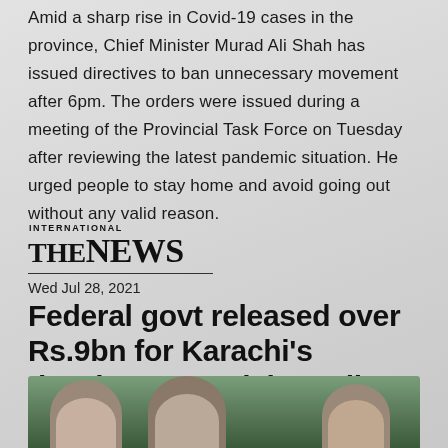Amid a sharp rise in Covid-19 cases in the province, Chief Minister Murad Ali Shah has issued directives to ban unnecessary movement after 6pm. The orders were issued during a meeting of the Provincial Task Force on Tuesday after reviewing the latest pandemic situation. He urged people to stay home and avoid going out without any valid reason.
[Figure (logo): The News International newspaper logo with 'INTERNATIONAL' text above 'THE NEWS' in bold serif font]
Wed Jul 28, 2021
Federal govt released over Rs.9bn for Karachi's development, claims Ali Zaidi
[Figure (photo): Photo showing three men in suits, likely at a press conference or official event with a green background]